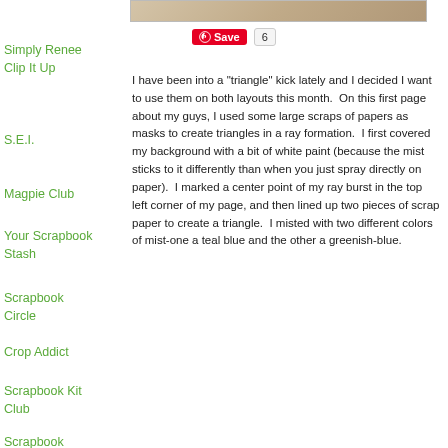[Figure (photo): Partial top of a scrapbook page photo, tan/beige tones visible at top]
Simply Renee Clip It Up
S.E.I.
Magpie Club
Your Scrapbook Stash
Scrapbook Circle
Crop Addict
Scrapbook Kit Club
Scrapbook
I have been into a "triangle" kick lately and I decided I want to use them on both layouts this month.  On this first page about my guys, I used some large scraps of papers as masks to create triangles in a ray formation.  I first covered my background with a bit of white paint (because the mist sticks to it differently than when you just spray directly on paper).  I marked a center point of my ray burst in the top left corner of my page, and then lined up two pieces of scrap paper to create a triangle.  I misted with two different colors of mist-one a teal blue and the other a greenish-blue.